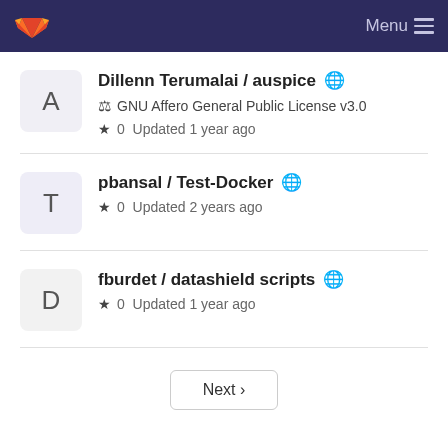GitLab — Menu
Dillenn Terumalai / auspice 🌐 — GNU Affero General Public License v3.0 — ★ 0  Updated 1 year ago
pbansal / Test-Docker 🌐 — ★ 0  Updated 2 years ago
fburdet / datashield scripts 🌐 — ★ 0  Updated 1 year ago
Next ›